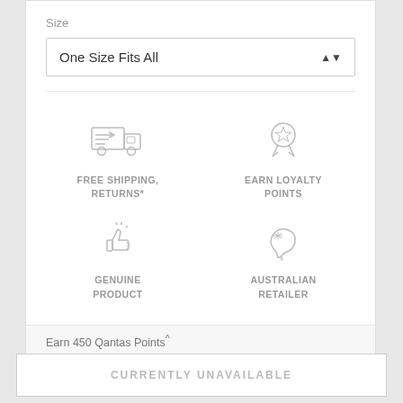Size
One Size Fits All
[Figure (illustration): Four icons: delivery truck (Free Shipping, Returns*), medal/award (Earn Loyalty Points), thumbs up (Genuine Product), Australia map (Australian Retailer)]
FREE SHIPPING, RETURNS*
EARN LOYALTY POINTS
GENUINE PRODUCT
AUSTRALIAN RETAILER
Earn 450 Qantas Points^
CURRENTLY UNAVAILABLE